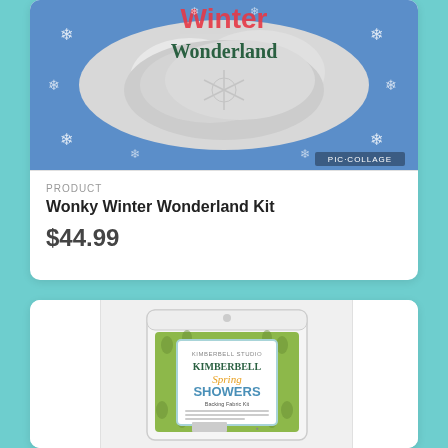[Figure (photo): Winter Wonderland product kit image with blue snowflake border and fluffy white/grey fabric inside, PIC COLLAGE watermark]
PRODUCT
Wonky Winter Wonderland Kit
$44.99
[Figure (photo): Kimberbell Spring Showers Backing Fabric Kit product in green floral packaging with label]